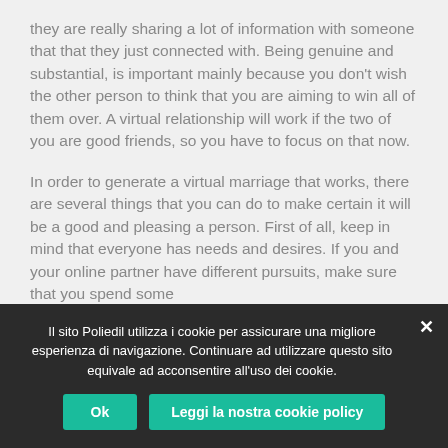they are really sharing a lot of information with someone that that they just connected with. Being genuine and substantial, is important mainly because you don't wish the other person to think that you are aiming to win all of them over. A virtual relationship will work if the two of you are good friends, so you have to focus on that now.

In order to generate a virtual marriage that works, there are several things that you can do to make certain it will be a good and pleasing a person. First of all, keep in mind that everyone has needs and desires. If you and your online partner have different pursuits, make sure that you spend some
Il sito Poliedil utilizza i cookie per assicurare una migliore esperienza di navigazione. Continuare ad utilizzare questo sito equivale ad acconsentire all'uso dei cookie.
Ok
Leggi la nostra cookie policy